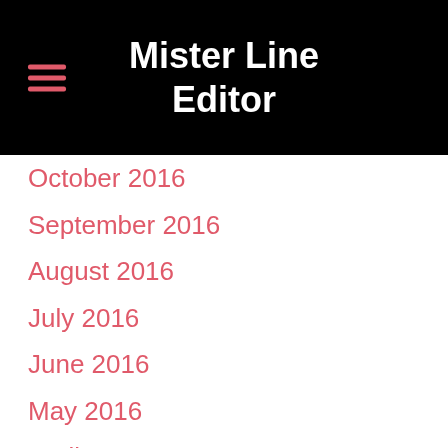Mister Line Editor
October 2016
September 2016
August 2016
July 2016
June 2016
May 2016
April 2016
March 2016
February 2016
January 2016
December 2015
November 2015
October 2015
September 2015
August 2015
July 2015